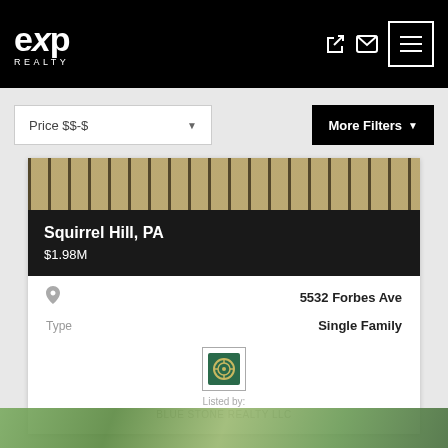[Figure (logo): eXp Realty logo in white on black header background]
Price $$-$
More Filters
[Figure (photo): Property photo strip showing exterior detail]
Squirrel Hill, PA
$1.98M
5532 Forbes Ave
Type
Single Family
[Figure (logo): Blue Stone Realty LLC agent logo]
Listed by:
BLUE STONE REALTY LLC
[Figure (photo): Bottom property photo strip]